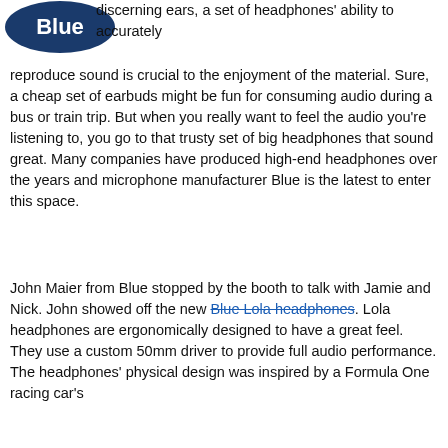[Figure (logo): Blue microphones circular logo in dark navy blue]
discerning ears, a set of headphones' ability to accurately reproduce sound is crucial to the enjoyment of the material. Sure, a cheap set of earbuds might be fun for consuming audio during a bus or train trip. But when you really want to feel the audio you're listening to, you go to that trusty set of big headphones that sound great. Many companies have produced high-end headphones over the years and microphone manufacturer Blue is the latest to enter this space.
John Maier from Blue stopped by the booth to talk with Jamie and Nick. John showed off the new Blue Lola headphones. Lola headphones are ergonomically designed to have a great feel. They use a custom 50mm driver to provide full audio performance. The headphones' physical design was inspired by a Formula One racing car's